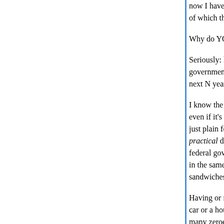now I have a quick reaction to the fact that both M about the federal government's debt and therefore deficits of which the federal government's debt is question:
Why do YOU care how many trillions of dollars th
Seriously: how would your life, or mine, be any di government's debt got reduced 33% to $10T, or i next N years?
I know the axiomatic answer to this question: less even if it's not my personal debt. What I mean by just plain feel better about it". The federal govern practical difference to your life or mine, but the m federal government owes $15T could conceivably in the same sense as the awareness that pigs ha sandwiches diminishes mine.
Having or not having a ham sandwich is a practic car or a house or the money to buy ham sandwic many zeroes appear in some federal government a "practical" thing. It can have practical conseque consequences can be very different for different p
You guys are practical people. So, leaving aside t